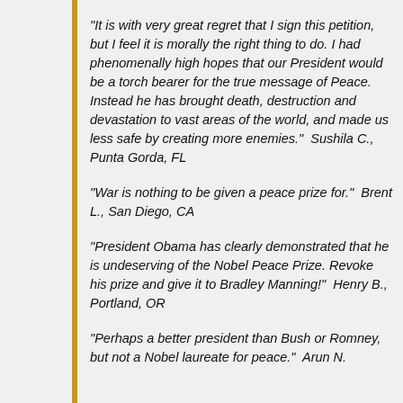“It is with very great regret that I sign this petition, but I feel it is morally the right thing to do. I had phenomenally high hopes that our President would be a torch bearer for the true message of Peace. Instead he has brought death, destruction and devastation to vast areas of the world, and made us less safe by creating more enemies.”  Sushila C., Punta Gorda, FL
“War is nothing to be given a peace prize for.”  Brent L., San Diego, CA
“President Obama has clearly demonstrated that he is undeserving of the Nobel Peace Prize. Revoke his prize and give it to Bradley Manning!”  Henry B., Portland, OR
“Perhaps a better president than Bush or Romney, but not a Nobel laureate for peace.”  Arun N.